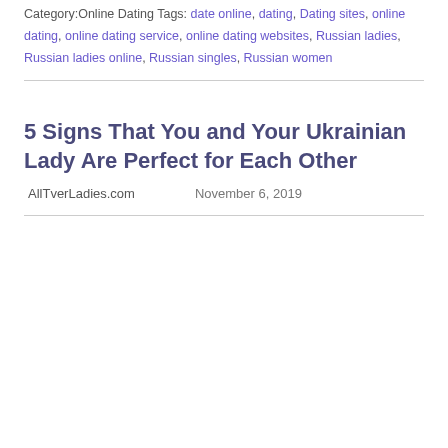Category:Online Dating Tags: date online, dating, Dating sites, online dating, online dating service, online dating websites, Russian ladies, Russian ladies online, Russian singles, Russian women
5 Signs That You and Your Ukrainian Lady Are Perfect for Each Other
AllTverLadies.com    November 6, 2019